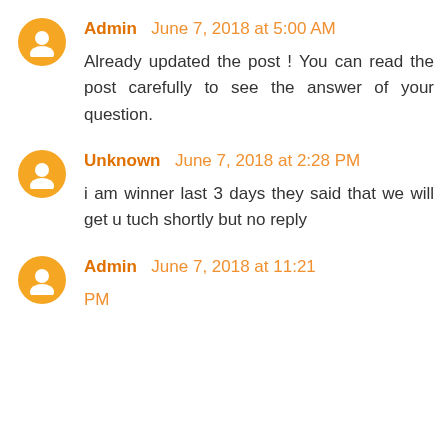Admin   June 7, 2018 at 5:00 AM
Already updated the post ! You can read the post carefully to see the answer of your question.
Unknown   June 7, 2018 at 2:28 PM
i am winner last 3 days they said that we will get u tuch shortly but no reply
Admin   June 7, 2018 at 11:21 PM